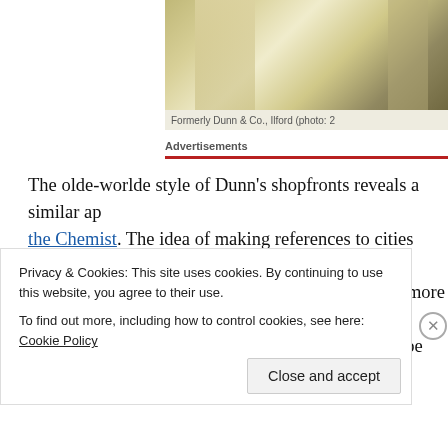[Figure (photo): Partial view of a building storefront, formerly Dunn & Co., Ilford]
Formerly Dunn & Co., Ilford (photo: 2...
Advertisements
The olde-worlde style of Dunn's shopfronts reveals a similar ap... the Chemist. The idea of making references to cities where Dunn... its national reach – can be compared with Burton's more modern... since Dunn's was also a men's outfitters this might be viewed as...
Privacy & Cookies: This site uses cookies. By continuing to use this website, you agree to their use.
To find out more, including how to control cookies, see here: Cookie Policy